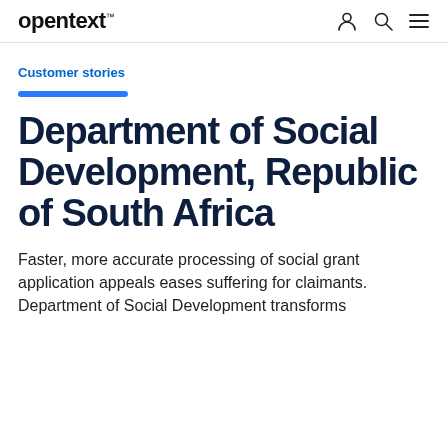opentext™
Customer stories
Department of Social Development, Republic of South Africa
Faster, more accurate processing of social grant application appeals eases suffering for claimants. Department of Social Development transforms